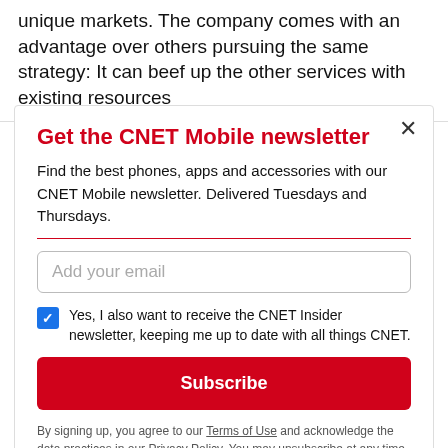unique markets. The company comes with an advantage over others pursuing the same strategy: It can beef up the other services with existing resources
Get the CNET Mobile newsletter
Find the best phones, apps and accessories with our CNET Mobile newsletter. Delivered Tuesdays and Thursdays.
Add your email
Yes, I also want to receive the CNET Insider newsletter, keeping me up to date with all things CNET.
Subscribe
By signing up, you agree to our Terms of Use and acknowledge the data practices in our Privacy Policy. You may unsubscribe at any time.